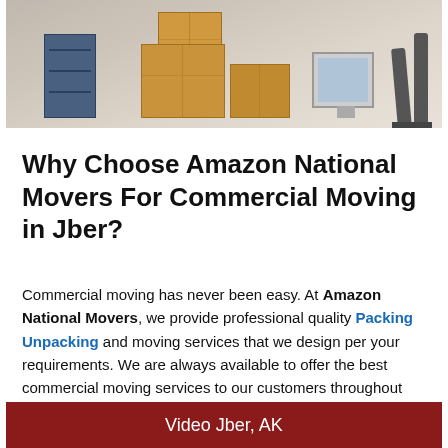[Figure (photo): Photo of an office moving scene with cardboard boxes, a filing cabinet, a computer monitor, and a person walking in the background.]
Why Choose Amazon National Movers For Commercial Moving in Jber?
Commercial moving has never been easy. At Amazon National Movers, we provide professional quality Packing Unpacking and moving services that we design per your requirements. We are always available to offer the best commercial moving services to our customers throughout Jber.
Video Jber, AK